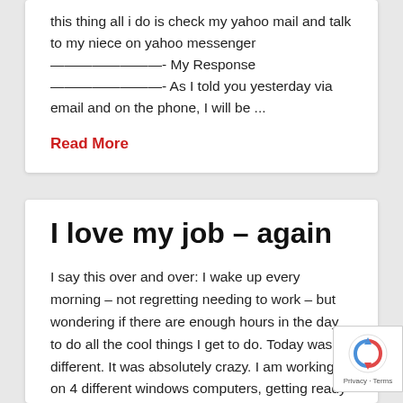this thing all i do is check my yahoo mail and talk to my niece on yahoo messenger ————————- My Response ————————- As I told you yesterday via email and on the phone, I will be ...
Read More
I love my job – again
I say this over and over: I wake up every morning – not regretting needing to work – but wondering if there are enough hours in the day to do all the cool things I get to do. Today was no different. It was absolutely crazy. I am working on 4 different windows computers, getting ready to implement a Novell/SuSE ...